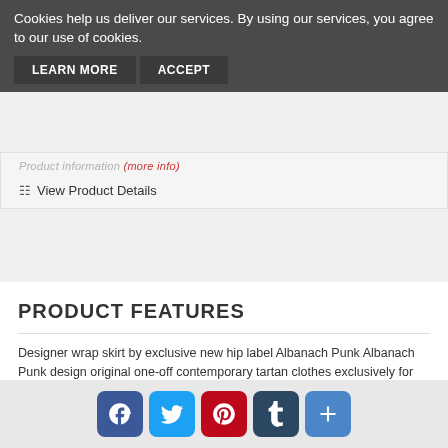Cookies help us deliver our services. By using our services, you agree to our use of cookies.
LEARN MORE  ACCEPT
Product information (more info)
View Product Details
PRODUCT FEATURES
Designer wrap skirt by exclusive new hip label Albanach Punk Albanach Punk design original one-off contemporary tartan clothes exclusively for Terrapin Lace-up tribal-punk micro skirt These skirts adjust to fit via a chain of popper studs on the waist. This means it can accomodate sizes from 30 inch waist to 40 inches (76cm-101cm waist) which is 8-16 UK size.
[Figure (infographic): Social sharing icons: Facebook, Twitter, Pinterest, Tumblr, and a plus/share button]